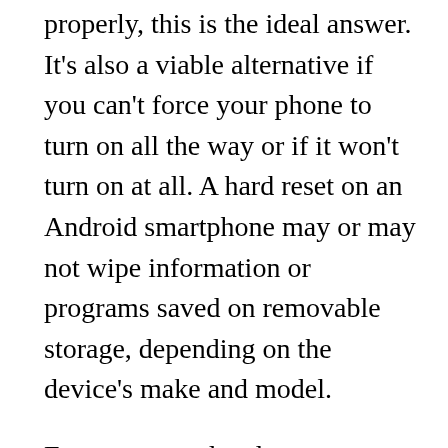properly, this is the ideal answer. It's also a viable alternative if you can't force your phone to turn on all the way or if it won't turn on at all. A hard reset on an Android smartphone may or may not wipe information or programs saved on removable storage, depending on the device's make and model.
Factory reset also does not overwrite flash storage, preventing forensic investigation and data retrieval in the future. If an Android phone's contents were encrypted before the factory reset, keys deleted during the factory reset render encrypted information cryptographically unavailable.